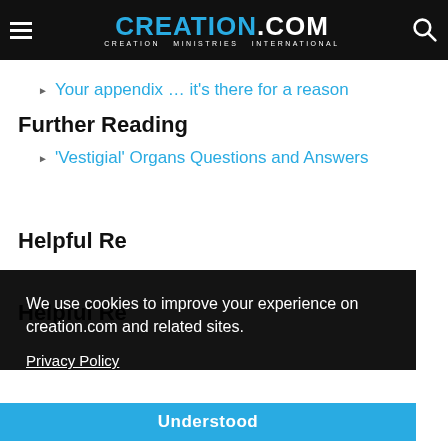CREATION.com — CREATION MINISTRIES INTERNATIONAL
Your appendix … it's there for a reason
Further Reading
'Vestigial' Organs Questions and Answers
Helpful Resources
We use cookies to improve your experience on creation.com and related sites.
Privacy Policy
Understood